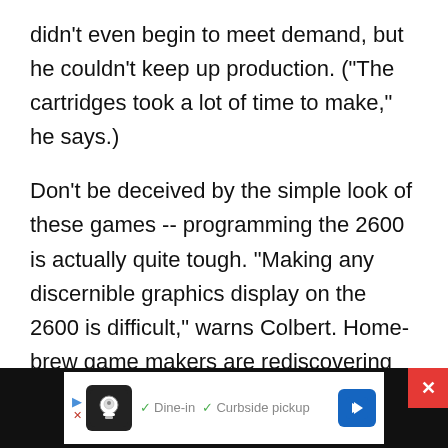didn't even begin to meet demand, but he couldn't keep up production. ("The cartridges took a lot of time to make," he says.)
Don't be deceived by the simple look of these games -- programming the 2600 is actually quite tough. "Making any discernible graphics display on the 2600 is difficult," warns Colbert. Home-brew game makers are rediscovering the hurdles that the original programmers who were hired to make games for the system faced -- a system with a mere 1 MHz CPU and 128 bytes of RAM does not allow a lot of room for sloppiness or error. Creating a good game for the
[Figure (other): Advertisement bar at bottom: black background with white ad box showing a restaurant icon, checkmarks for Dine-in and Curbside pickup, a blue navigation arrow button, and a red X close button.]